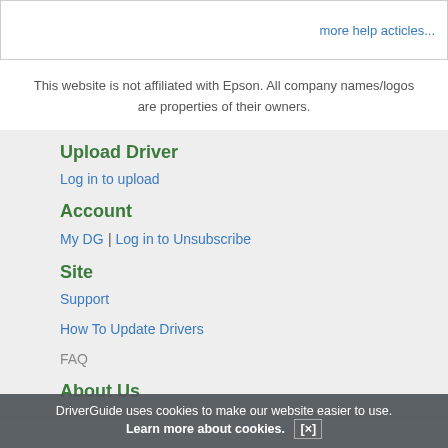more help acticles...
This website is not affiliated with Epson. All company names/logos are properties of their owners.
Upload Driver
Log in to upload
Account
My DG | Log in to Unsubscribe
Site
Support
How To Update Drivers
FAQ
About Us
DriverGuide uses cookies to make our website easier to use. Learn more about cookies. [×]